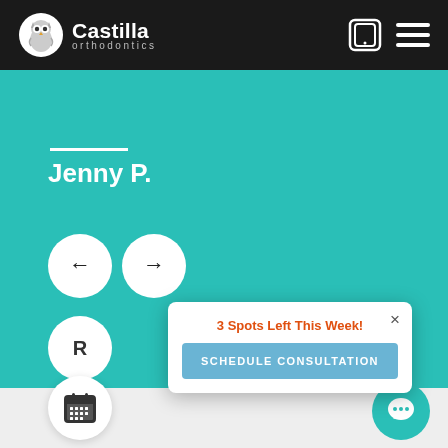[Figure (screenshot): Castilla Orthodontics website navigation bar with logo (owl icon and text 'Castilla orthodontics'), mobile icon, and hamburger menu icon on dark background]
[Figure (screenshot): Teal testimonial section showing user name 'Jenny P.' with white underline, left and right arrow navigation buttons, an 'R' partial button, and a popup overlay with '3 Spots Left This Week!' in orange, a 'SCHEDULE CONSULTATION' blue button, and a close X. Bottom gray footer area with calendar icon button and teal chat bubble button.]